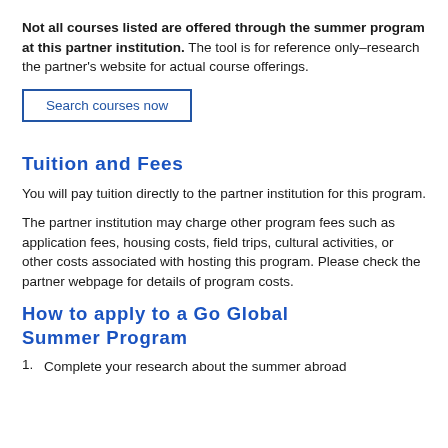Not all courses listed are offered through the summer program at this partner institution. The tool is for reference only–research the partner's website for actual course offerings.
Search courses now
Tuition and Fees
You will pay tuition directly to the partner institution for this program.
The partner institution may charge other program fees such as application fees, housing costs, field trips, cultural activities, or other costs associated with hosting this program. Please check the partner webpage for details of program costs.
How to apply to a Go Global Summer Program
Complete your research about the summer abroad...